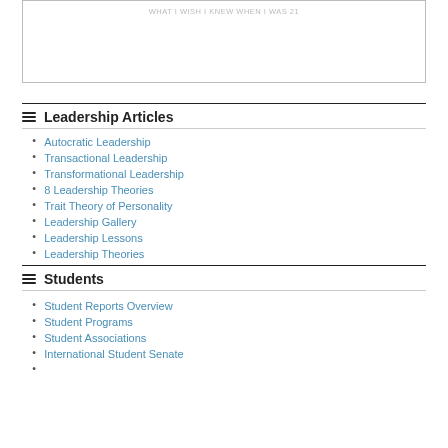[Figure (other): Bordered image box with faint text at top: 'WHAT I WISH I KNEW WHEN I WAS 21']
Leadership Articles
Autocratic Leadership
Transactional Leadership
Transformational Leadership
8 Leadership Theories
Trait Theory of Personality
Leadership Gallery
Leadership Lessons
Leadership Theories
Students
Student Reports Overview
Student Programs
Student Associations
International Student Senate